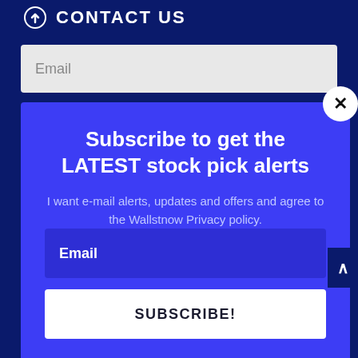CONTACT US
Email
Subscribe to get the LATEST stock pick alerts
I want e-mail alerts, updates and offers and agree to the Wallstnow Privacy policy.
Email
SUBSCRIBE!